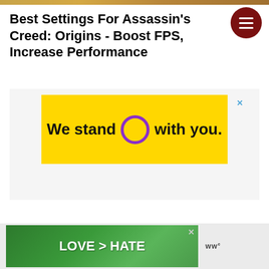[Figure (photo): Hero image strip at top of page showing outdoor scene]
Best Settings For Assassin's Creed: Origins - Boost FPS, Increase Performance
[Figure (infographic): Yellow advertisement banner reading 'We stand O with you.' with a purple circle, and a close X button]
[Figure (photo): Bottom advertisement banner showing hands making a heart shape with green nature background, text 'LOVE > HATE', with close button and logo]